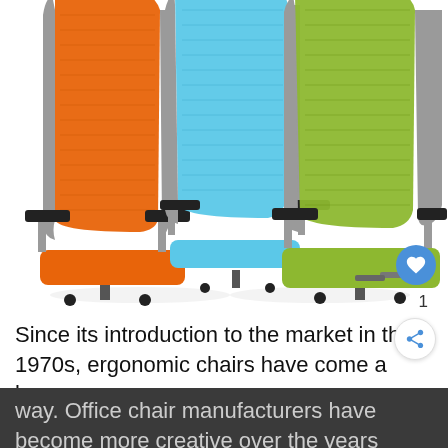[Figure (photo): Three colorful ergonomic office chairs side by side — orange, blue, and green mesh-back chairs with gray frames and casters, photographed on white background]
Since its introduction to the market in the 1970s, ergonomic chairs have come a long way. Office chair manufacturers have become more creative over the years
way. Office chair manufacturers have become more creative over the years